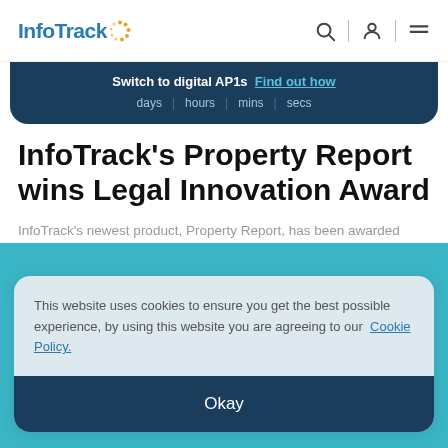InfoTrack | Switch to digital AP1s Find out how | days | hours | mins | secs
InfoTrack's Property Report wins Legal Innovation Award
InfoTrack's newest product, Property Report, has been awarded Legal Innovation of the year at LegalEx 2021.
This website uses cookies to ensure you get the best possible experience, by using this website you are agreeing to our Cookie Policy.
Okay